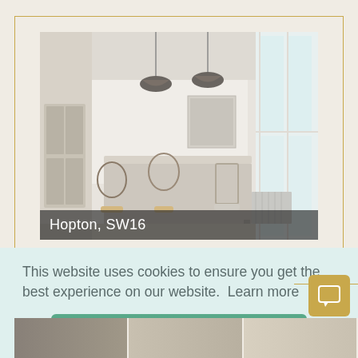[Figure (photo): Bright, airy dining room interior with white walls, long dining table, mix of bentwood and ladder-back chairs, two industrial-style pendant lights, large floor-to-ceiling windows letting in natural light. Location label reads 'Hopton, SW16'.]
Hopton, SW16
This website uses cookies to ensure you get the best experience on our website.  Learn more
Got it!